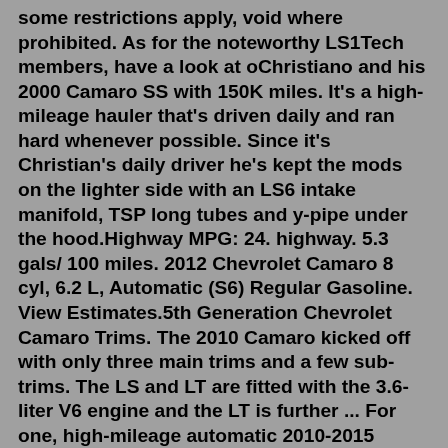some restrictions apply, void where prohibited. As for the noteworthy LS1Tech members, have a look at oChristiano and his 2000 Camaro SS with 150K miles. It's a high-mileage hauler that's driven daily and ran hard whenever possible. Since it's Christian's daily driver he's kept the mods on the lighter side with an LS6 intake manifold, TSP long tubes and y-pipe under the hood.Highway MPG: 24. highway. 5.3 gals/ 100 miles. 2012 Chevrolet Camaro 8 cyl, 6.2 L, Automatic (S6) Regular Gasoline. View Estimates.5th Generation Chevrolet Camaro Trims. The 2010 Camaro kicked off with only three main trims and a few sub-trims. The LS and LT are fitted with the 3.6-liter V6 engine and the LT is further ... For one, high-mileage automatic 2010-2015 Camaros can develop faulty shifter interlocks, AutoGuide says. If this happens, you won't be able to remove the key from the ignition even after you turned the car off. Secondly, some automatic 5 th -gen Camaro owners experience shuddering at lower speeds, especially